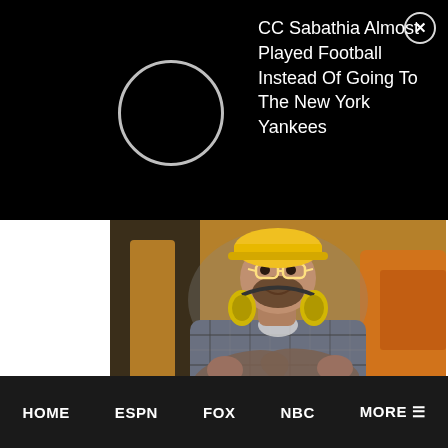CC Sabathia Almost Played Football Instead Of Going To The New York Yankees
[Figure (photo): Construction worker smiling with arms crossed, wearing yellow hard hat, safety glasses, plaid shirt, and ear protection around neck, with construction equipment in background]
george mason university Mason Jobs in Ashburn Apply Now
jobble.com
[Figure (logo): Outbrain logo with play button icon]
HOME   ESPN   FOX   NBC   MORE